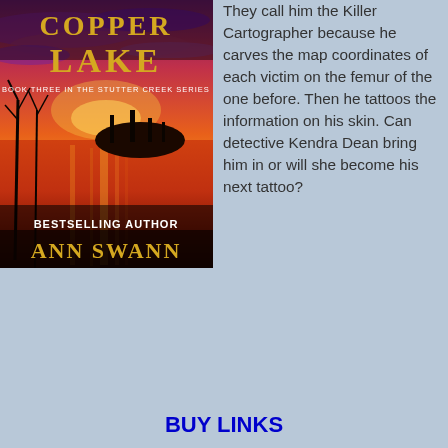[Figure (illustration): Book cover for 'Copper Lake', Book Three in the Stutter Creek Series by Bestselling Author Ann Swann. Features a dramatic sunset over a lake with silhouetted trees and an island, in vivid oranges, reds, and purples. Gold lettering for title and author name on dark background.]
They call him the Killer Cartographer because he carves the map coordinates of each victim on the femur of the one before. Then he tattoos the information on his skin. Can detective Kendra Dean bring him in or will she become his next tattoo?
BUY LINKS